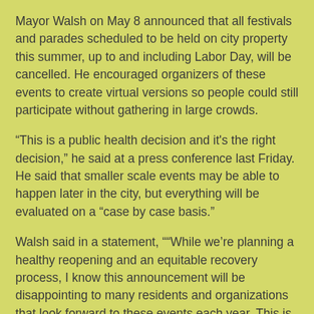Mayor Walsh on May 8 announced that all festivals and parades scheduled to be held on city property this summer, up to and including Labor Day, will be cancelled. He encouraged organizers of these events to create virtual versions so people could still participate without gathering in large crowds.
“This is a public health decision and it's the right decision,” he said at a press conference last Friday. He said that smaller scale events may be able to happen later in the city, but everything will be evaluated on a “case by case basis.”
Walsh said in a statement, ““While we’re planning a healthy reopening and an equitable recovery process, I know this announcement will be disappointing to many residents and organizations that look forward to these events each year. This is a hard public health decision, but it’s the right one. I encourage people to rethink their events, and thank them for their work to inspire us, and help our communities get through this difficult time.”